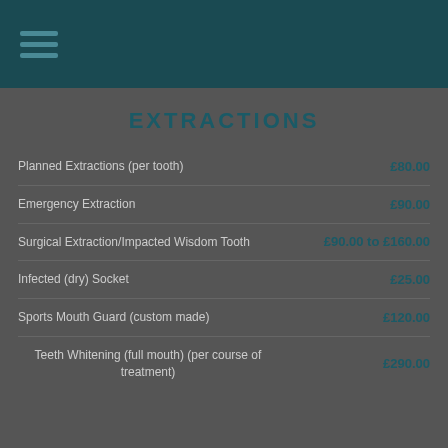EXTRACTIONS
| Service | Price |
| --- | --- |
| Planned Extractions (per tooth) | £80.00 |
| Emergency Extraction | £90.00 |
| Surgical Extraction/Impacted Wisdom Tooth | £90.00 to £160.00 |
| Infected (dry) Socket | £25.00 |
| Sports Mouth Guard (custom made) | £120.00 |
| Teeth Whitening (full mouth) (per course of treatment) | £290.00 |